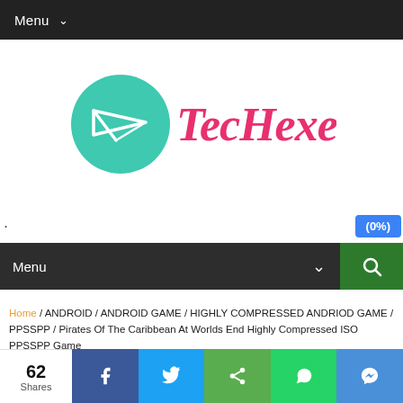Menu
[Figure (logo): TecHexer logo with teal circle containing a paper airplane icon and pink cursive text 'TecHexer']
(0%)
Menu
Home / ANDROID / ANDROID GAME / HIGHLY COMPRESSED ANDRIOD GAME / PPSSPP / Pirates Of The Caribbean At Worlds End Highly Compressed ISO PPSSPP Game
Pirates Of The Caribbean At
62 Shares